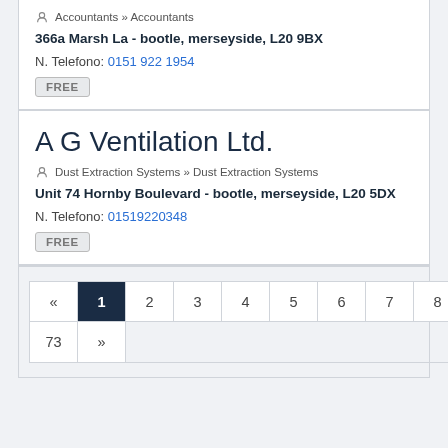Accountants » Accountants
366a Marsh La - bootle, merseyside, L20 9BX
N. Telefono: 0151 922 1954
FREE
A G Ventilation Ltd.
Dust Extraction Systems » Dust Extraction Systems
Unit 74 Hornby Boulevard - bootle, merseyside, L20 5DX
N. Telefono: 01519220348
FREE
« 1 2 3 4 5 6 7 8 ... 72 73 »